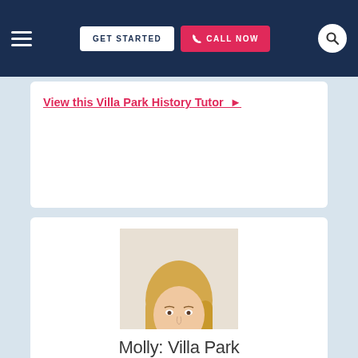GET STARTED | CALL NOW
View this Villa Park History Tutor ▶
[Figure (photo): Headshot photo of a young blonde woman smiling, wearing a white collared shirt, against a light background. This is a tutor profile photo.]
Molly: Villa Park